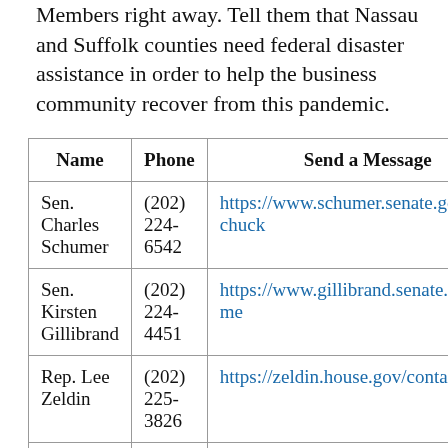Members right away. Tell them that Nassau and Suffolk counties need federal disaster assistance in order to help the business community recover from this pandemic.
| Name | Phone | Send a Message |
| --- | --- | --- |
| Sen. Charles Schumer | (202) 224-6542 | https://www.schumer.senate.gov/cont-chuck |
| Sen. Kirsten Gillibrand | (202) 224-4451 | https://www.gillibrand.senate.gov/con-me |
| Rep. Lee Zeldin | (202) 225-3826 | https://zeldin.house.gov/contact/ |
| Rep. Peter King | (202) 225-7896 | https://peteking.house.gov/contact |